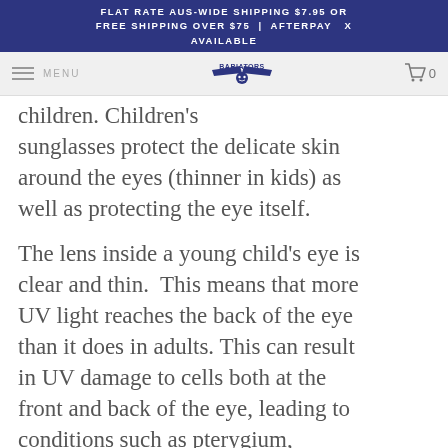FLAT RATE AUS-WIDE SHIPPING $7.95 OR FREE SHIPPING OVER $75 | AFTERPAY X AVAILABLE
MENU | BABIATORS | 0
children. Children's sunglasses protect the delicate skin around the eyes (thinner in kids) as well as protecting the eye itself.
The lens inside a young child's eye is clear and thin.  This means that more UV light reaches the back of the eye than it does in adults. This can result in UV damage to cells both at the front and back of the eye, leading to conditions such as pterygium, cataracts and macular degeneration.
The Skin Cancer Foundation provides